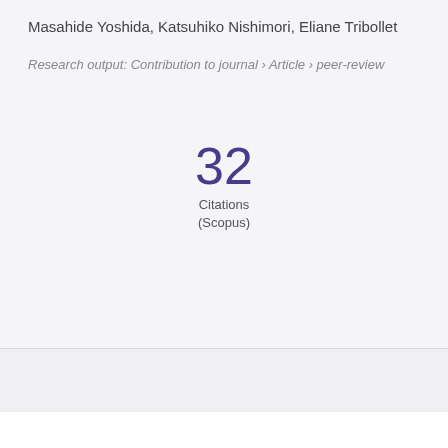Masahide Yoshida, Katsuhiko Nishimori, Eliane Tribollet
Research output: Contribution to journal › Article › peer-review
32
Citations
(Scopus)
Overview   Fingerprint